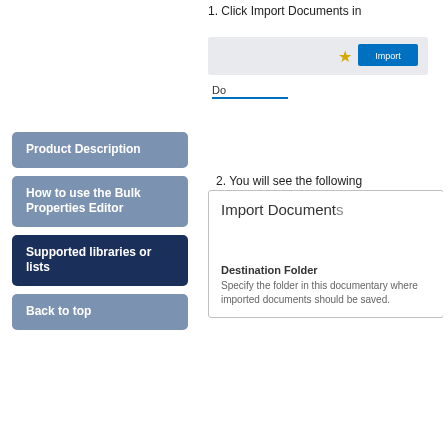1. Click Import Documents in
[Figure (screenshot): Partial UI showing a document library toolbar area with an Import Documents button and icons, and a 'Do' label with blue underline]
Product Description
How to use the Bulk Properties Editor
Supported libraries or lists
Back to top
2. You will see the following
[Figure (screenshot): Import Documents dialog box showing a Destination Folder field with description: Specify the folder in this document library where imported documents should be saved.]